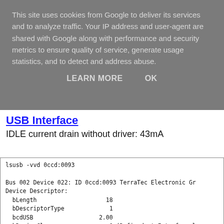This site uses cookies from Google to deliver its services and to analyze traffic. Your IP address and user-agent are shared with Google along with performance and security metrics to ensure quality of service, generate usage statistics, and to detect and address abuse.
LEARN MORE   OK
USB Interface
IDLE current drain without driver: 43mA
lsusb -vvd 0ccd:0093

Bus 002 Device 022: ID 0ccd:0093 TerraTec Electronic Gr
Device Descriptor:
  bLength                    18
  bDescriptorType             1
  bcdUSB                   2.00
  bDeviceClass                0 (Defined at Interface leve
  bDeviceSubClass             0
  bDeviceProtocol             0
  bMaxPacketSize0            64
  idVendor               0x0ccd TerraTec Electronic GmbH
  idProduct              0x0093
  bcdDevice                2.00